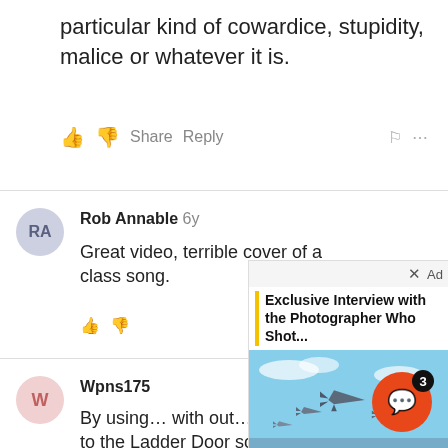particular kind of cowardice, stupidity, malice or whatever it is.
👍 👎 Share Reply 🏴 ···
Rob Annable 6y
Great video, terrible cover of a class song.
[Figure (screenshot): Ad overlay showing 'Exclusive Interview with the Photographer Who Shot...' with fighter jets image and media controls]
👍 👎
Wpns175
By using ... with out... can cause damage to the Ladder Door solenoid. Also, I missed engine start... of edited that bit out. Anyone know... won Hogsmoke 2016? I didn't get a chance